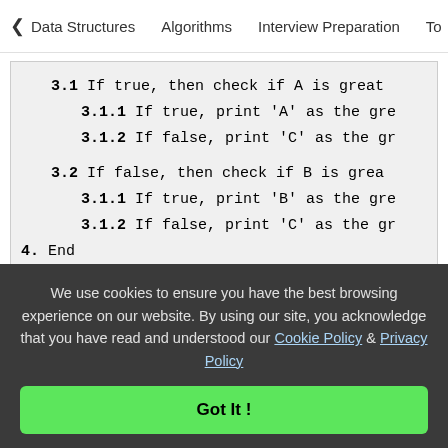< Data Structures   Algorithms   Interview Preparation   To>
3.1 If true, then check if A is great
3.1.1 If true, print 'A' as the gre
3.1.2 If false, print 'C' as the gr
3.2 If false, then check if B is grea
3.1.1 If true, print 'B' as the gre
3.1.2 If false, print 'C' as the gr
4. End
FlowChart to find the largest of three numbers:
We use cookies to ensure you have the best browsing experience on our website. By using our site, you acknowledge that you have read and understood our Cookie Policy & Privacy Policy
Got It !